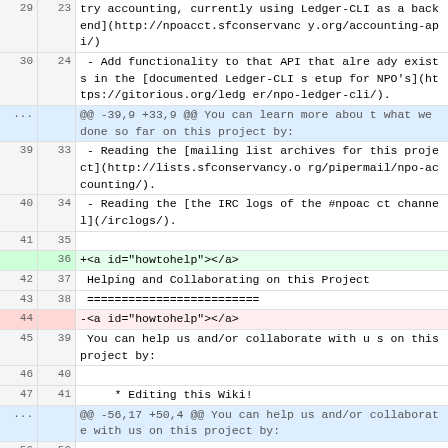| old_ln | new_ln | code |
| --- | --- | --- |
| 29 | 23 | try accounting, currently using Ledger-CLI as a backend](http://npoacct.sfconservancy.org/accounting-api/) |
| 30 | 24 |  - Add functionality to that API that already exists in the [documented Ledger-CLI setup for NPO's](https://gitorious.org/ledger/npo-ledger-cli/). |
| ... |  | @@ -39,9 +33,9 @@ You can learn more about what we done so far on this project by: |
| 39 | 33 |  - Reading the [mailing list archives for this project](http://lists.sfconservancy.org/pipermail/npo-accounting/). |
| 40 | 34 |  - Reading the [the IRC logs of the #npoacct channel](/irclogs/). |
| 41 | 35 |  |
|  | 36 | +<a id="howtohelp"></a> |
| 42 | 37 |  Helping and Collaborating on this Project |
| 43 | 38 |  ========================= |
| 44 |  | -<a id="howtohelp"></a> |
| 45 | 39 |  You can help us and/or collaborate with us on this project by: |
| 46 | 40 |  |
| 47 | 41 |      * Editing this Wiki! |
| ... |  | @@ -56,17 +50,4 @@ You can help us and/or collaborate with us on this project by: |
| 56 | 50 |  |
|  |  | * Editing this Wiki! |